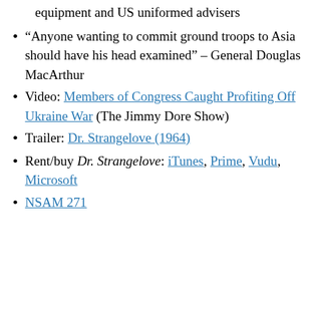equipment and US uniformed advisers
“Anyone wanting to commit ground troops to Asia should have his head examined” – General Douglas MacArthur
Video: Members of Congress Caught Profiting Off Ukraine War (The Jimmy Dore Show)
Trailer: Dr. Strangelove (1964)
Rent/buy Dr. Strangelove: iTunes, Prime, Vudu, Microsoft
NSAM 271